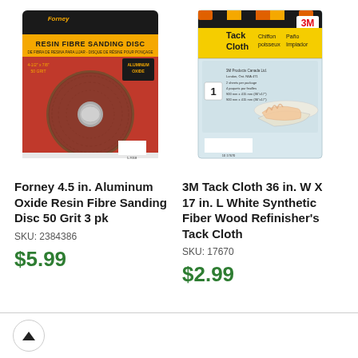[Figure (photo): Forney Resin Fibre Sanding Disc product package - red/black packaging with a brown sanding disc, 4.5 inch, 50 grit, aluminum oxide]
[Figure (photo): 3M Tack Cloth product package - clear plastic bag with black and yellow striped header, 36 in. W x 17 in. L white synthetic fiber wood refinisher's tack cloth]
Forney 4.5 in. Aluminum Oxide Resin Fibre Sanding Disc 50 Grit 3 pk
SKU: 2384386
$5.99
3M Tack Cloth 36 in. W X 17 in. L White Synthetic Fiber Wood Refinisher's Tack Cloth
SKU: 17670
$2.99